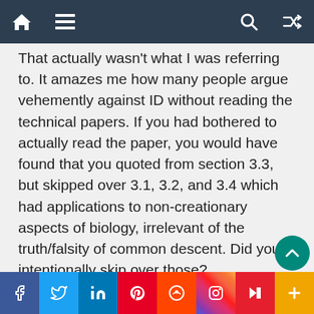[Navigation bar with home, menu, search, and shuffle icons]
That actually wasn't what I was referring to. It amazes me how many people argue vehemently against ID without reading the technical papers. If you had bothered to actually read the paper, you would have found that you quoted from section 3.3, but skipped over 3.1, 3.2, and 3.4 which had applications to non-creationary aspects of biology, irrelevant of the truth/falsity of common descent. Did you intentionally skip over those?
So, in 3.1, I discuss the following:
Pallen and Matzke (2006) argue for the exaptational origin of the flagellum. As we've shown, just the FleQ/FleN pathway makes the evolution of this sys…
f  t  in  P  reddit  instagram  Flipboard  +